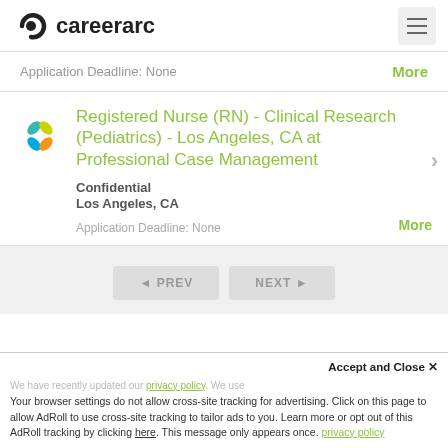careerarc
Application Deadline: None
Registered Nurse (RN) - Clinical Research (Pediatrics) - Los Angeles, CA at Professional Case Management
Confidential
Los Angeles, CA
Application Deadline: None
◄ PREV   NEXT ►
Accept and Close ✕
Your browser settings do not allow cross-site tracking for advertising. Click on this page to allow AdRoll to use cross-site tracking to tailor ads to you. Learn more or opt out of this AdRoll tracking by clicking here. This message only appears once.